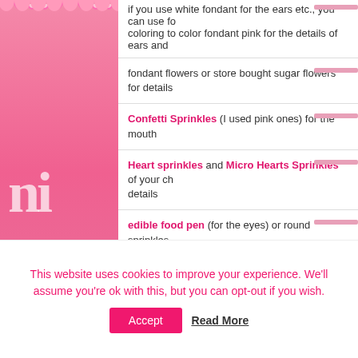if you use white fondant for the ears etc., you can use food coloring to color fondant pink for the details of ears and
fondant flowers or store bought sugar flowers for details
Confetti Sprinkles (I used pink ones) for the mouth
Heart sprinkles and Micro Hearts Sprinkles of your choice for details
edible food pen (for the eyes) or round sprinkles
tweezers
gloves
Additional Items you may want to get,
This website uses cookies to improve your experience. We'll assume you're ok with this, but you can opt-out if you wish. Accept Read More